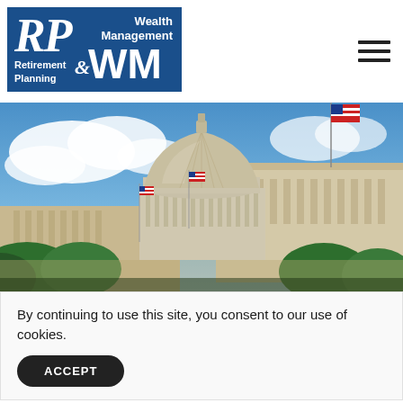[Figure (logo): RP & WM Retirement Planning and Wealth Management logo — blue rectangle with white text and stylized letters RP and WM]
[Figure (photo): Photograph of the US Capitol building dome against a partly cloudy blue sky, with American flags visible and trees in the foreground]
By continuing to use this site, you consent to our use of cookies.
ACCEPT